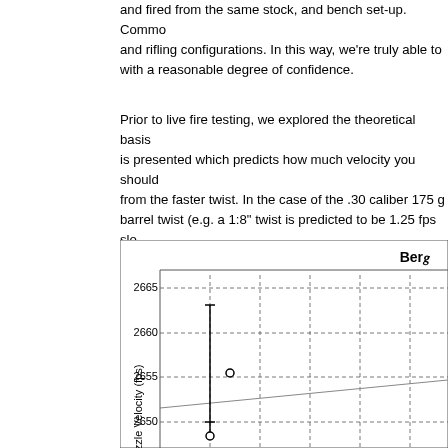and fired from the same stock, and bench set-up. Commo and rifling configurations. In this way, we're truly able to with a reasonable degree of confidence.
Prior to live fire testing, we explored the theoretical basis is presented which predicts how much velocity you should from the faster twist. In the case of the .30 caliber 175 g barrel twist (e.g. a 1:8" twist is predicted to be 1.25 fps slo
[Figure (continuous-plot): Partial chart showing Muzzle Velocity (fps) on Y-axis with values 2650, 2655, 2660, 2665. Contains error bars and data points (open circles) at approximately 2655 and 2649, with a slight upward trending line. Dashed grid lines visible.]